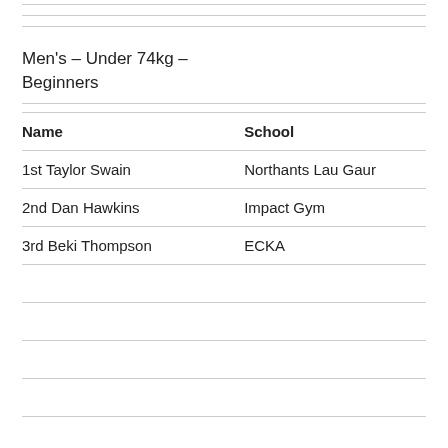Men's – Under 74kg – Beginners
| Name | School |
| --- | --- |
| 1st Taylor Swain | Northants Lau Gaur |
| 2nd Dan Hawkins | Impact Gym |
| 3rd Beki Thompson | ECKA |